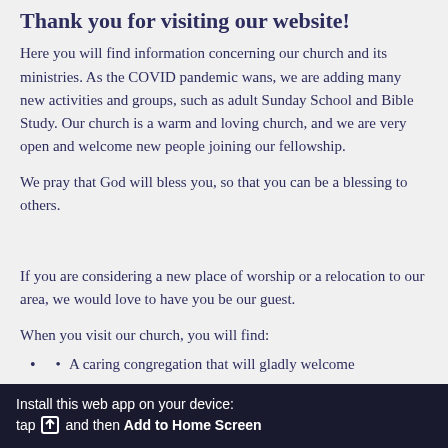Thank you for visiting our website!
Here you will find information concerning our church and its ministries. As the COVID pandemic wans, we are adding many new activities and groups, such as adult Sunday School and Bible Study. Our church is a warm and loving church, and we are very open and welcome new people joining our fellowship.
We pray that God will bless you, so that you can be a blessing to others.
If you are considering a new place of worship or a relocation to our area, we would love to have you be our guest.
When you visit our church, you will find:
A caring congregation that will gladly welcome
Install this web app on your device: tap [icon] and then Add to Home Screen